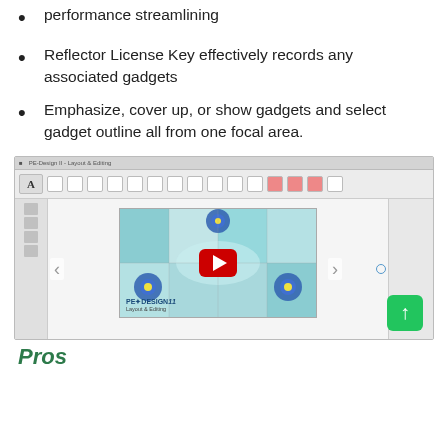performance streamlining
Reflector License Key effectively records any associated gadgets
Emphasize, cover up, or show gadgets and select gadget outline all from one focal area.
[Figure (screenshot): Screenshot of PE-Design II Layout & Editing software showing a YouTube video thumbnail with a play button, quilt/embroidery pattern design, and software UI chrome with toolbars and sidebars. A green scroll-to-top button is visible in the bottom right.]
Pros